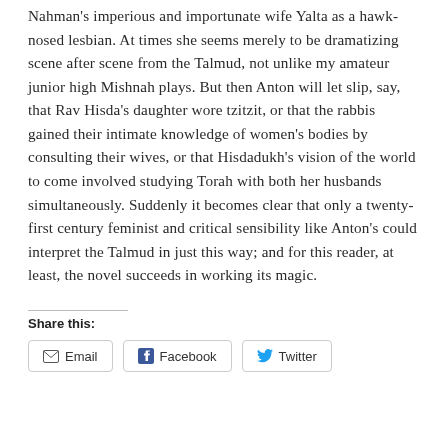Nahman's imperious and importunate wife Yalta as a hawk-nosed lesbian. At times she seems merely to be dramatizing scene after scene from the Talmud, not unlike my amateur junior high Mishnah plays. But then Anton will let slip, say, that Rav Hisda's daughter wore tzitzit, or that the rabbis gained their intimate knowledge of women's bodies by consulting their wives, or that Hisdadukh's vision of the world to come involved studying Torah with both her husbands simultaneously. Suddenly it becomes clear that only a twenty-first century feminist and critical sensibility like Anton's could interpret the Talmud in just this way; and for this reader, at least, the novel succeeds in working its magic.
Share this:
Email   Facebook   Twitter